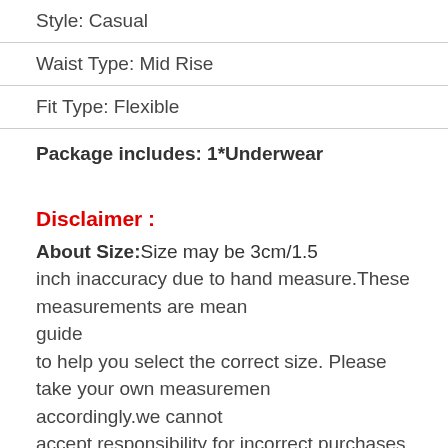Style: Casual
Waist Type: Mid Rise
Fit Type: Flexible
Package includes: 1*Underwear
Disclaimer :
About Size: Size may be 3cm/1.5 inch inaccuracy due to hand measure. These measurements are meant as a guide to help you select the correct size. Please take your own measurements accordingly. we cannot accept responsibility for incorrect purchases.
About Color: The precise color of the clothing items may vary depending on the display and the lighting.